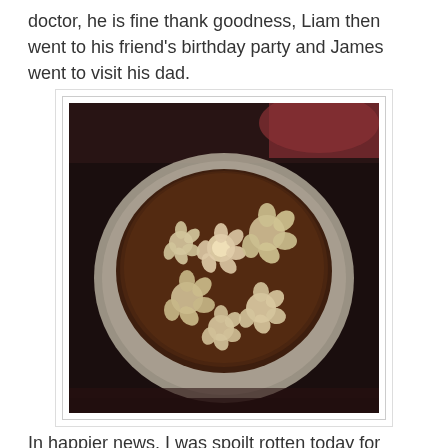doctor, he is fine thank goodness, Liam then went to his friend's birthday party and James went to visit his dad.
[Figure (photo): A chocolate cake on a plate decorated with flower-shaped sugar decorations, viewed from above in a dark setting.]
In happier news, I was spoilt rotten today for Mother's day.  My little bears got me a lovely card, chocolates, daffodils and made me a yummy chocolate cake!  I am a very lucky lady.
Later this year, June, we are all off on a weeks holiday to Berwick-Upon-Tweed.  I cannot wait, I absolutely love love